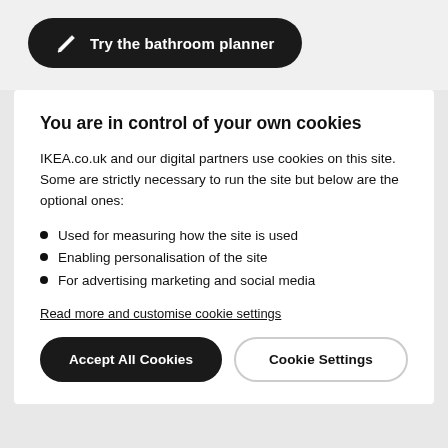[Figure (other): Button with pencil icon: 'Try the bathroom planner' on dark rounded pill background]
You are in control of your own cookies
IKEA.co.uk and our digital partners use cookies on this site. Some are strictly necessary to run the site but below are the optional ones:
Used for measuring how the site is used
Enabling personalisation of the site
For advertising marketing and social media
Read more and customise cookie settings
Accept All Cookies
Cookie Settings